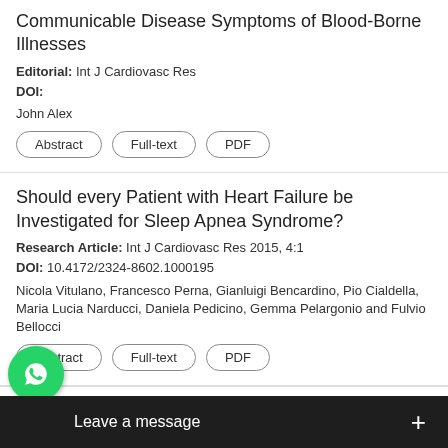Communicable Disease Symptoms of Blood-Borne Illnesses
Editorial: Int J Cardiovasc Res
DOI:
John Alex
Abstract | Full-text | PDF
Should every Patient with Heart Failure be Investigated for Sleep Apnea Syndrome?
Research Article: Int J Cardiovasc Res 2015, 4:1
DOI: 10.4172/2324-8602.1000195
Nicola Vitulano, Francesco Perna, Gianluigi Bencardino, Pio Cialdella, Maria Lucia Narducci, Daniela Pedicino, Gemma Pelargonio and Fulvio Bellocci
Abstract | Full-text | PDF
n Therapy is Associated with Reduction of …and Coronary Plaque Volu…mposition, Measured by …
[Figure (other): WhatsApp chat icon overlay with 'Leave a message' bar]